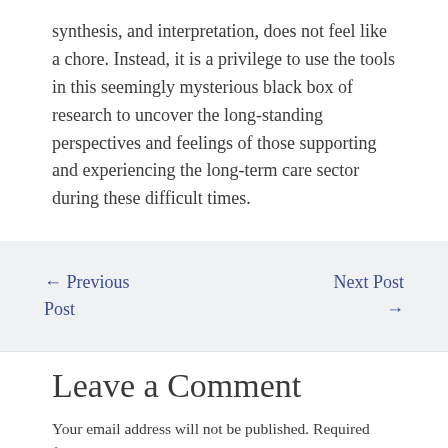synthesis, and interpretation, does not feel like a chore. Instead, it is a privilege to use the tools in this seemingly mysterious black box of research to uncover the long-standing perspectives and feelings of those supporting and experiencing the long-term care sector during these difficult times.
← Previous Post
Next Post →
Leave a Comment
Your email address will not be published. Required fields are marked *